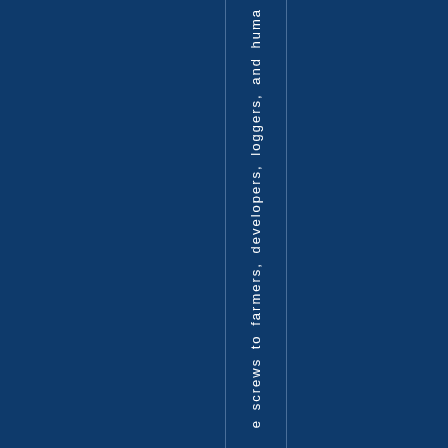e screws to farmers, developers, loggers, and huma